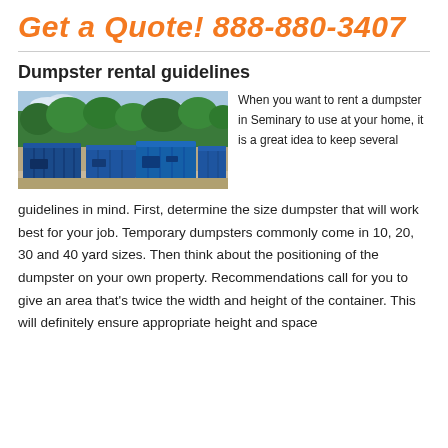Get a Quote! 888-880-3407
Dumpster rental guidelines
[Figure (photo): Row of blue roll-off dumpsters parked outdoors with trees in the background]
When you want to rent a dumpster in Seminary to use at your home, it is a great idea to keep several guidelines in mind. First, determine the size dumpster that will work best for your job. Temporary dumpsters commonly come in 10, 20, 30 and 40 yard sizes. Then think about the positioning of the dumpster on your own property. Recommendations call for you to give an area that's twice the width and height of the container. This will definitely ensure appropriate height and space